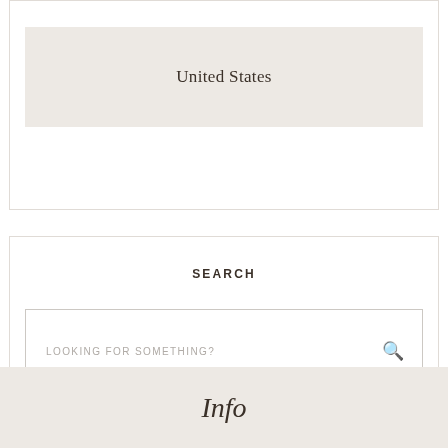United States
SEARCH
LOOKING FOR SOMETHING?
Info